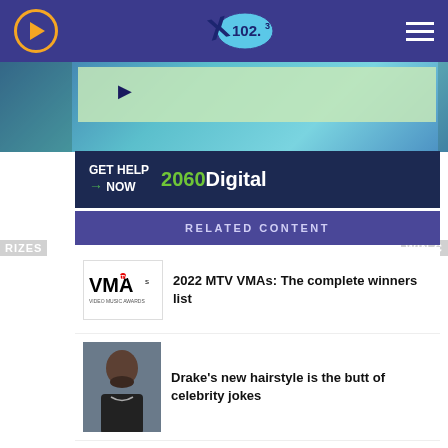X 102.3
[Figure (screenshot): Advertisement banner: GET HELP NOW with arrow, 2060 Digital logo]
RELATED CONTENT
[Figure (logo): MTV VMAs Video Music Awards logo]
2022 MTV VMAs: The complete winners list
[Figure (photo): Photo of Drake, male celebrity]
Drake's new hairstyle is the butt of celebrity jokes